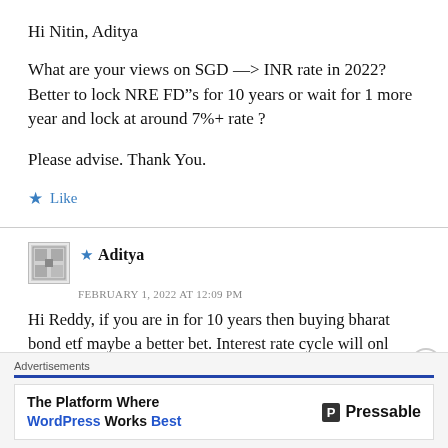Hi Nitin, Aditya
What are your views on SGD —> INR rate in 2022? Better to lock NRE FD"s for 10 years or wait for 1 more year and lock at around 7%+ rate ?
Please advise. Thank You.
★ Like
★ Aditya
FEBRUARY 1, 2022 AT 12:09 PM
Hi Reddy, if you are in for 10 years then buying bharat bond etf maybe a better bet. Interest rate cycle will onl
Advertisements
The Platform Where WordPress Works Best — Pressable